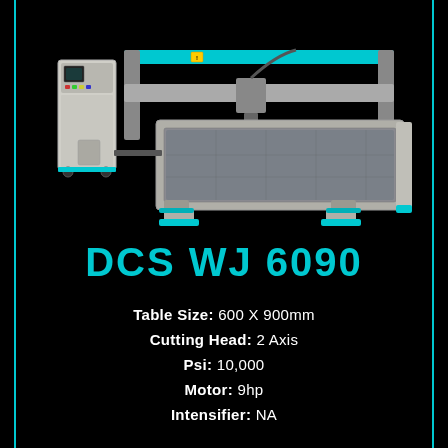[Figure (photo): CNC waterjet cutting machine (DCS WJ 6090) with teal/cyan colored accents, large cutting table, and separate control cabinet on black background.]
DCS WJ 6090
Table Size: 600 X 900mm
Cutting Head: 2 Axis
Psi: 10,000
Motor: 9hp
Intensifier: NA